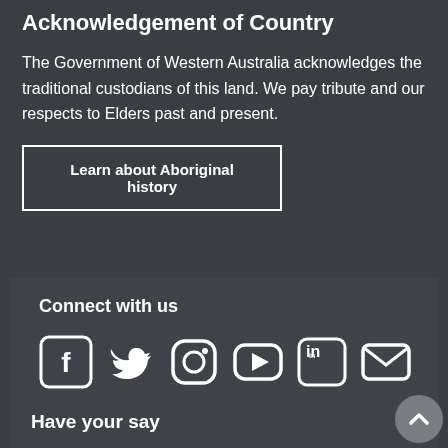Acknowledgement of Country
The Government of Western Australia acknowledges the traditional custodians of this land. We pay tribute and our respects to Elders past and present.
Learn about Aboriginal history
Connect with us
[Figure (infographic): Social media icons: Facebook, Twitter, Instagram, YouTube, LinkedIn, Email]
Have your say